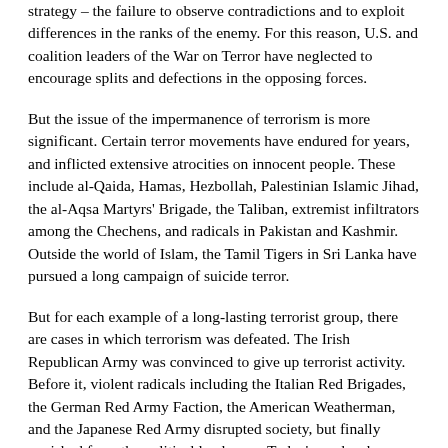strategy – the failure to observe contradictions and to exploit differences in the ranks of the enemy. For this reason, U.S. and coalition leaders of the War on Terror have neglected to encourage splits and defections in the opposing forces.
But the issue of the impermanence of terrorism is more significant. Certain terror movements have endured for years, and inflicted extensive atrocities on innocent people. These include al-Qaida, Hamas, Hezbollah, Palestinian Islamic Jihad, the al-Aqsa Martyrs' Brigade, the Taliban, extremist infiltrators among the Chechens, and radicals in Pakistan and Kashmir. Outside the world of Islam, the Tamil Tigers in Sri Lanka have pursued a long campaign of suicide terror.
But for each example of a long-lasting terrorist group, there are cases in which terrorism was defeated. The Irish Republican Army was convinced to give up terrorist activity. Before it, violent radicals including the Italian Red Brigades, the German Red Army Faction, the American Weatherman, and the Japanese Red Army disrupted society, but finally vanished from the political landscape. Today's readers have seldom heard of the revolutionary terrorism that convulsed Europe and the Americas at the end of the 19th century.
Terrorism can be defeated. Islamist terrorism is no less vulnerable than its predecessors in history.